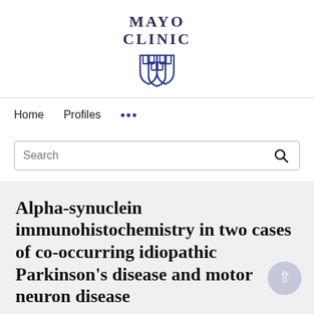[Figure (logo): Mayo Clinic logo with shield emblem and text 'MAYO CLINIC']
Home   Profiles   ...
Search
Alpha-synuclein immunohistochemistry in two cases of co-occurring idiopathic Parkinson's disease and motor neuron disease